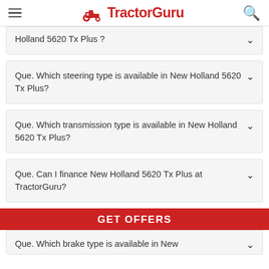TractorGuru
Que. Which steering type is available in New Holland 5620 Tx Plus?
Que. Which transmission type is available in New Holland 5620 Tx Plus?
Que. Can I finance New Holland 5620 Tx Plus at TractorGuru?
GET OFFERS
Que. Which brake type is available in New